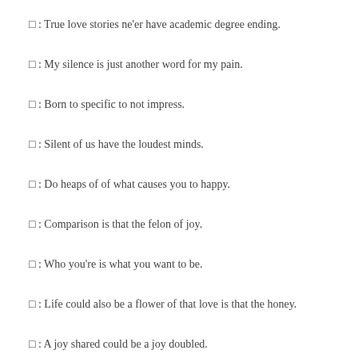□ : True love stories ne'er have academic degree ending.
□ : My silence is just another word for my pain.
□ : Born to specific to not impress.
□ : Silent of us have the loudest minds.
□ : Do heaps of of what causes you to happy.
□ : Comparison is that the felon of joy.
□ : Who you're is what you want to be.
□ : Life could also be a flower of that love is that the honey.
□ : A joy shared could be a joy doubled.